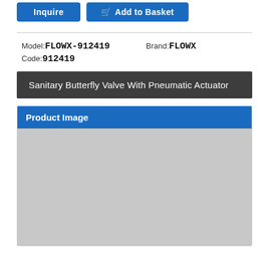Inquire | Add to Basket
Model: FLOWX-912419  Brand: FLOWX  Code: 912419
Sanitary Butterfly Valve With Pneumatic Actuator
Product Image
[Figure (photo): Product image placeholder — grey rectangle representing product photo area]